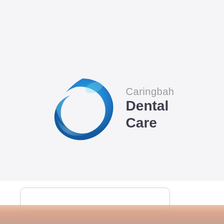[Figure (logo): Caringbah Dental Care logo: a blue swirling C-shape circle on the left, with text 'Caringbah' in light grey and 'Dental Care' in bold dark grey on the right]
[Figure (photo): Bottom strip showing a close-up photo of a person's face (skin tones, peach/warm), partially visible at the bottom of the page]